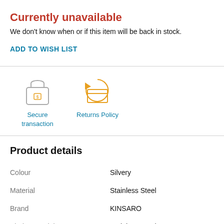Currently unavailable
We don't know when or if this item will be back in stock.
ADD TO WISH LIST
[Figure (illustration): Lock icon representing secure transaction]
[Figure (illustration): Box with arrow icon representing returns policy]
Product details
| Attribute | Value |
| --- | --- |
| Colour | Silvery |
| Material | Stainless Steel |
| Brand | KINSARO |
| Blade material | Stainless Steel |